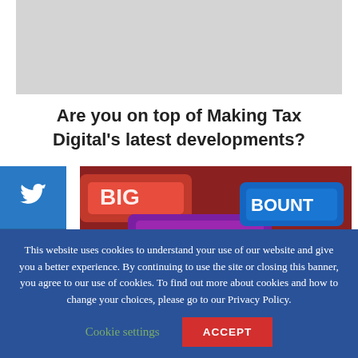[Figure (other): Gray placeholder banner image at top of page]
Are you on top of Making Tax Digital's latest developments?
[Figure (photo): Photo of various chocolate candy bars including Snickers, Bounty, and others piled together]
This website uses cookies to understand your use of our website and give you a better experience. By continuing to use the site or closing this banner, you agree to our use of cookies. To find out more about cookies and how to change your choices, please go to our Privacy Policy.
Cookie settings
ACCEPT